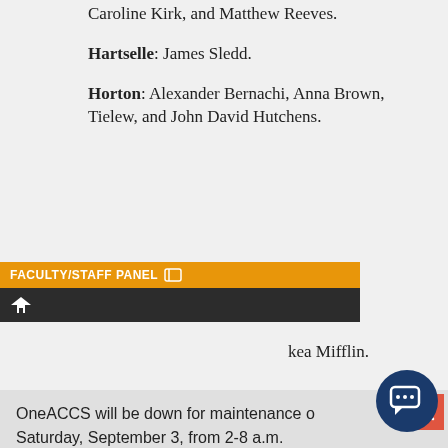Caroline Kirk, and Matthew Reeves.
Hartselle: James Sledd.
Horton: Alexander Bernachi, Anna Brown, Timothy Brockelew, and John David Hutchens.
Houghton Mifflin.
OneACCS will be down for maintenance on Saturday, September 3, from 2-8 a.m.
Langston: Marshall Cravey.
Madison: Anna Lucas.
Moulton: Savannah Graham.
Oneonta: Stephen Dean, Erika Duarte, William